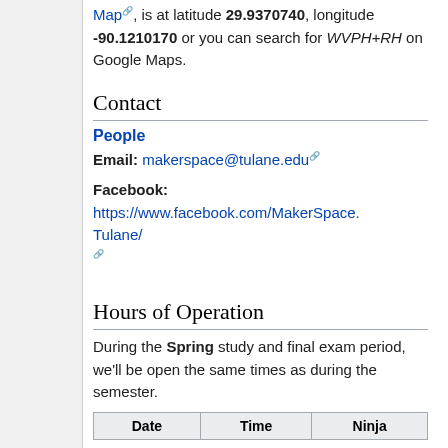Map, is at latitude 29.9370740, longitude -90.1210170 or you can search for WVPH+RH on Google Maps.
Contact
People
Email: makerspace@tulane.edu
Facebook: https://www.facebook.com/MakerSpace.Tulane/
Hours of Operation
During the Spring study and final exam period, we'll be open the same times as during the semester.
| Date | Time | Ninja |
| --- | --- | --- |